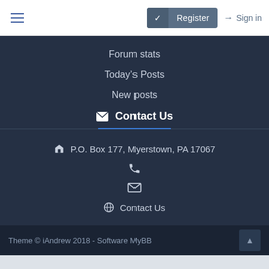≡  Register  Sign in
Forum stats
Today's Posts
New posts
✉ Contact Us
P.O. Box 177, Myerstown, PA 17067
(phone icon)
(email icon)
Contact Us
Theme © iAndrew 2018 - Software MyBB